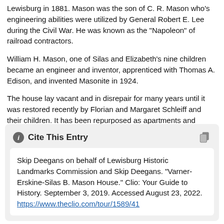Lewisburg in 1881. Mason was the son of C. R. Mason who's engineering abilities were utilized by General Robert E. Lee during the Civil War. He was known as the "Napoleon" of railroad contractors.
William H. Mason, one of Silas and Elizabeth's nine children became an engineer and inventor, apprenticed with Thomas A. Edison, and invented Masonite in 1924.
The house lay vacant and in disrepair for many years until it was restored recently by Florian and Margaret Schleiff and their children. It has been repurposed as apartments and offices.
Cite This Entry
Skip Deegans on behalf of Lewisburg Historic Landmarks Commission and Skip Deegans. "Varner-Erskine-Silas B. Mason House." Clio: Your Guide to History. September 3, 2019. Accessed August 23, 2022. https://www.theclio.com/tour/1589/41